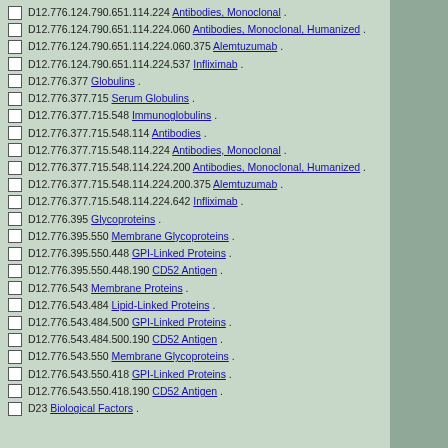D12.776.124.790.651.114.224 Antibodies, Monoclonal .
D12.776.124.790.651.114.224.060 Antibodies, Monoclonal, Humanized .
D12.776.124.790.651.114.224.060.375 Alemtuzumab .
D12.776.124.790.651.114.224.537 Infliximab .
D12.776.377 Globulins .
D12.776.377.715 Serum Globulins .
D12.776.377.715.548 Immunoglobulins .
D12.776.377.715.548.114 Antibodies .
D12.776.377.715.548.114.224 Antibodies, Monoclonal .
D12.776.377.715.548.114.224.200 Antibodies, Monoclonal, Humanized .
D12.776.377.715.548.114.224.200.375 Alemtuzumab .
D12.776.377.715.548.114.224.642 Infliximab .
D12.776.395 Glycoproteins .
D12.776.395.550 Membrane Glycoproteins .
D12.776.395.550.448 GPI-Linked Proteins .
D12.776.395.550.448.190 CD52 Antigen .
D12.776.543 Membrane Proteins .
D12.776.543.484 Lipid-Linked Proteins .
D12.776.543.484.500 GPI-Linked Proteins .
D12.776.543.484.500.190 CD52 Antigen .
D12.776.543.550 Membrane Glycoproteins .
D12.776.543.550.418 GPI-Linked Proteins .
D12.776.543.550.418.190 CD52 Antigen .
D23 Biological Factors .